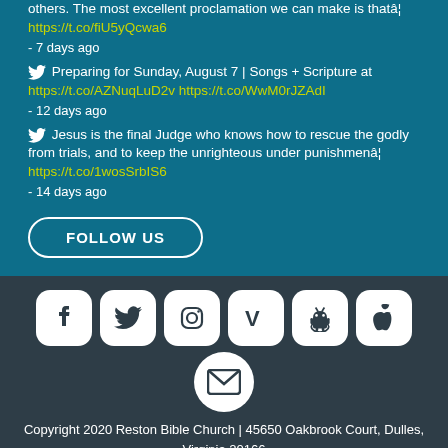others. The most excellent proclamation we can make is thatâ¦ https://t.co/fiU5yQcwa6 - 7 days ago
Preparing for Sunday, August 7 | Songs + Scripture at https://t.co/AZNuqLuD2v https://t.co/WwM0rJZAdI - 12 days ago
Jesus is the final Judge who knows how to rescue the godly from trials, and to keep the unrighteous under punishmenâ¦ https://t.co/1wosSrbIS6 - 14 days ago
FOLLOW US
[Figure (infographic): Row of social media icons (Facebook, Twitter, Instagram, Vimeo, Android, Apple) and email icon below]
Copyright 2020 Reston Bible Church | 45650 Oakbrook Court, Dulles, Virginia 20166